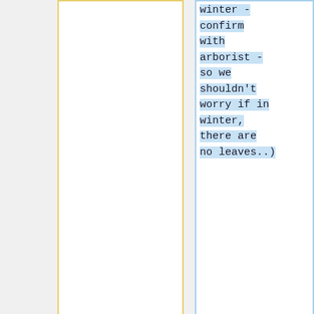winter - confirm with arborist - so we shouldn't worry if in winter, there are no leaves..)
* '''Watering'': These young Crepe Myrtles do not need to be watered barring exceptional drought conditions
* '''Watering'': These young Crepe Myrtles do not need to be watered barring exceptional drought conditions